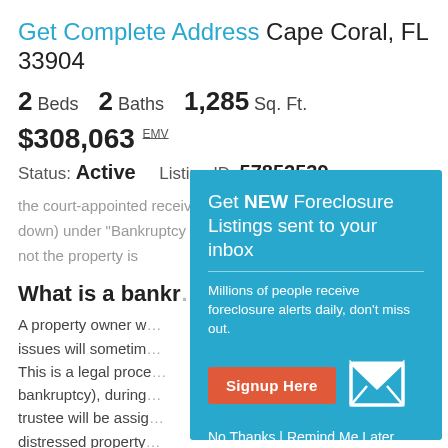Get Complete Address Cape Coral, FL 33904
2 Beds  2 Baths  1,285 Sq. Ft.
$308,063 EMV
Status: Active   Listing ID: 57852539
the court-appointed receiver / trustee listed below (scroll down) under "Bankruptcy Information" to learn whether or not the property is
What is a bankr
A property owner w issues will sometim This is a legal proce bankruptcy), during trustee will be assig distressed property property is one of the most valuable assets that the court-appointed receiver / trustee will leverage to satisfy the distressed property owner's outstanding debts. The
[Figure (infographic): Popup overlay on teal background: 'Get NEW Foreclosure Listings sent to your inbox'. Subtitle: 'Millions of people receive foreclosure alerts daily, don't miss out.' Red 'Signup Here' button, envelope icon, and links 'No Thanks | Remind Me Later']